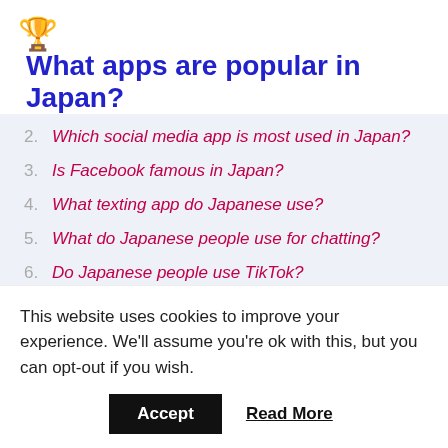🏆 What apps are popular in Japan?
2. Which social media app is most used in Japan?
3. Is Facebook famous in Japan?
4. What texting app do Japanese use?
5. What do Japanese people use for chatting?
6. Do Japanese people use TikTok?
This website uses cookies to improve your experience. We'll assume you're ok with this, but you can opt-out if you wish.
Accept  Read More